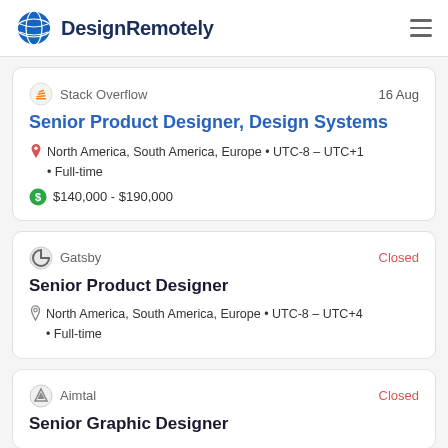DesignRemotely
Stack Overflow | 16 Aug
Senior Product Designer, Design Systems
North America, South America, Europe • UTC-8 – UTC+1 • Full-time
$140,000 - $190,000
Gatsby | Closed
Senior Product Designer
North America, South America, Europe • UTC-8 – UTC+4 • Full-time
Aimtal | Closed
Senior Graphic Designer